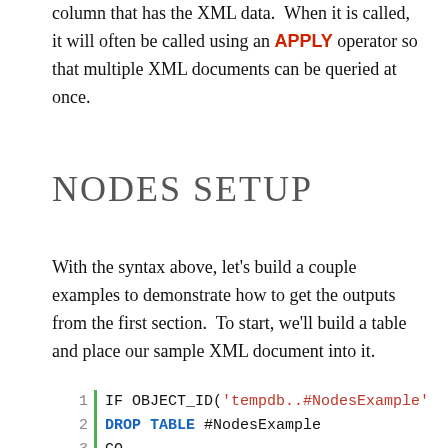The nodes() method is called as a method on the column that has the XML data. When it is called, it will often be called using an APPLY operator so that multiple XML documents can be queried at once.
NODES SETUP
With the syntax above, let's build a couple examples to demonstrate how to get the outputs from the first section. To start, we'll build a table and place our sample XML document into it.
IF OBJECT_ID('tempdb..#NodesExample'
DROP TABLE #NodesExample
GO

CREATE TABLE #NodesExample
(
XMLDocument xml
)